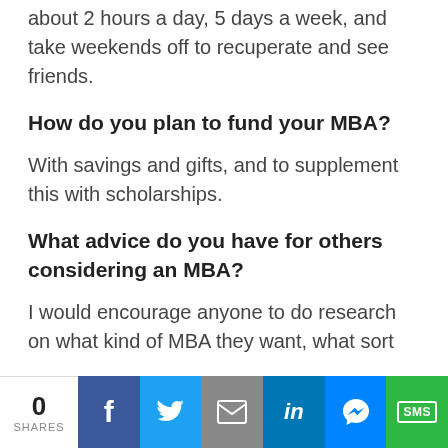about 2 hours a day, 5 days a week, and take weekends off to recuperate and see friends.
How do you plan to fund your MBA?
With savings and gifts, and to supplement this with scholarships.
What advice do you have for others considering an MBA?
I would encourage anyone to do research on what kind of MBA they want, what sort
0 SHARES | Facebook | Twitter | Email | LinkedIn | Messenger | SMS